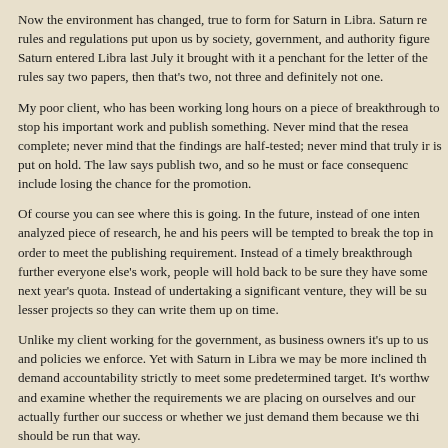Now the environment has changed, true to form for Saturn in Libra. Saturn re rules and regulations put upon us by society, government, and authority figure Saturn entered Libra last July it brought with it a penchant for the letter of the rules say two papers, then that's two, not three and definitely not one.
My poor client, who has been working long hours on a piece of breakthrough to stop his important work and publish something. Never mind that the resea complete; never mind that the findings are half-tested; never mind that truly ir is put on hold. The law says publish two, and so he must or face consequenc include losing the chance for the promotion.
Of course you can see where this is going. In the future, instead of one inten analyzed piece of research, he and his peers will be tempted to break the top in order to meet the publishing requirement. Instead of a timely breakthrough further everyone else's work, people will hold back to be sure they have some next year's quota. Instead of undertaking a significant venture, they will be su lesser projects so they can write them up on time.
Unlike my client working for the government, as business owners it's up to us and policies we enforce. Yet with Saturn in Libra we may be more inclined th demand accountability strictly to meet some predetermined target. It's worthw and examine whether the requirements we are placing on ourselves and our actually further our success or whether we just demand them because we thi should be run that way.
I know for myself I have to continually guard against falling into habits and rou impose on myself just because they are “best practices” or because another b person I respect uses them. I can become quite rigid with my schedule: so m this, so many days on that. I'm much happier with a bit more flexibility but like successful business owners, I have a fair share of Saturn energy.